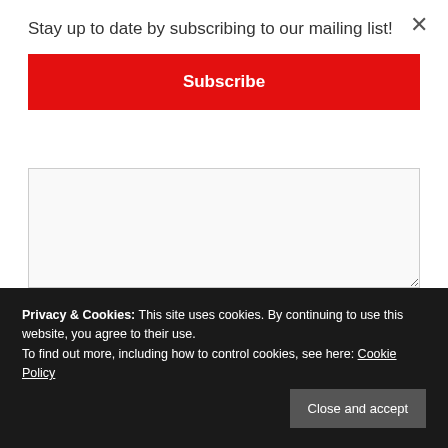Stay up to date by subscribing to our mailing list!
Subscribe
You may use these HTML tags and attributes: <a href="" title=""> <abbr title=""> <acronym title=""> <b> <blockquote cite=""> <cite> <code> <del datetime=""> <em> <i> <q cite=""> <s> <strike> <strong>
Privacy & Cookies: This site uses cookies. By continuing to use this website, you agree to their use.
To find out more, including how to control cookies, see here: Cookie Policy
Close and accept